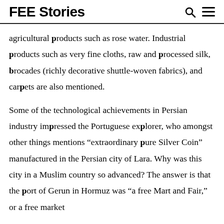FEE Stories
agricultural products such as rose water. Industrial products such as very fine cloths, raw and processed silk, brocades (richly decorative shuttle-woven fabrics), and carpets are also mentioned.
Some of the technological achievements in Persian industry impressed the Portuguese explorer, who amongst other things mentions “extraordinary pure Silver Coin” manufactured in the Persian city of Lara. Why was this city in a Muslim country so advanced? The answer is that the port of Gerun in Hormuz was “a free Mart and Fair,” or a free market